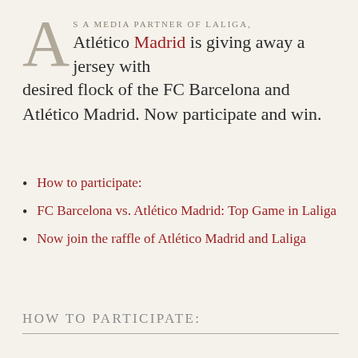As a media partner of Laliga, Atlético Madrid is giving away a jersey with desired flock of the FC Barcelona and Atlético Madrid. Now participate and win.
How to participate:
FC Barcelona vs. Atlético Madrid: Top Game in Laliga
Now join the raffle of Atlético Madrid and Laliga
HOW TO PARTICIPATE: